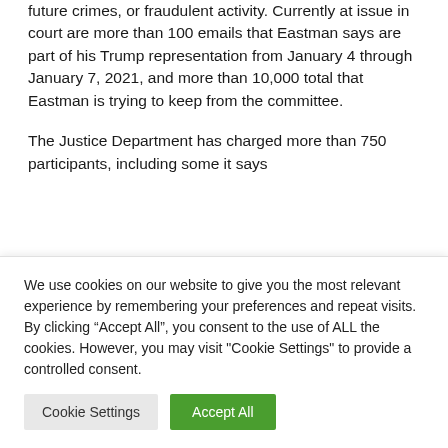future crimes, or fraudulent activity. Currently at issue in court are more than 100 emails that Eastman says are part of his Trump representation from January 4 through January 7, 2021, and more than 10,000 total that Eastman is trying to keep from the committee.
The Justice Department has charged more than 750 participants, including some it says
We use cookies on our website to give you the most relevant experience by remembering your preferences and repeat visits. By clicking “Accept All”, you consent to the use of ALL the cookies. However, you may visit "Cookie Settings" to provide a controlled consent.